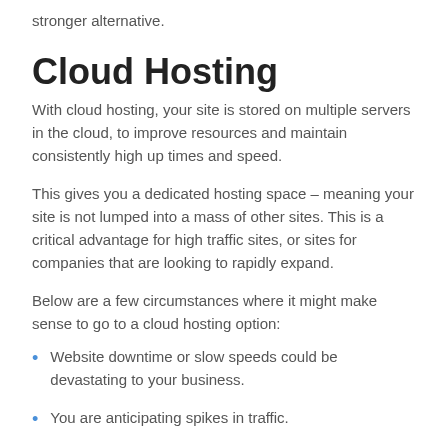stronger alternative.
Cloud Hosting
With cloud hosting, your site is stored on multiple servers in the cloud, to improve resources and maintain consistently high up times and speed.
This gives you a dedicated hosting space – meaning your site is not lumped into a mass of other sites. This is a critical advantage for high traffic sites, or sites for companies that are looking to rapidly expand.
Below are a few circumstances where it might make sense to go to a cloud hosting option:
Website downtime or slow speeds could be devastating to your business.
You are anticipating spikes in traffic.
You need features or applications that aren't typically